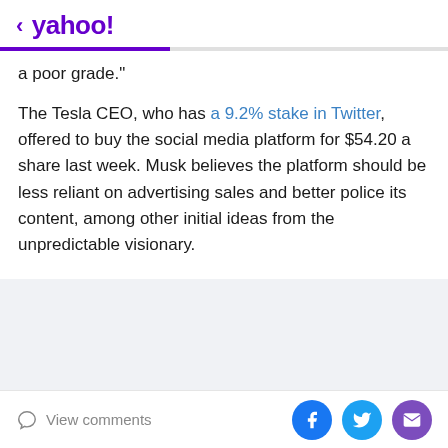< yahoo!
a poor grade."
The Tesla CEO, who has a 9.2% stake in Twitter, offered to buy the social media platform for $54.20 a share last week. Musk believes the platform should be less reliant on advertising sales and better police its content, among other initial ideas from the unpredictable visionary.
View comments